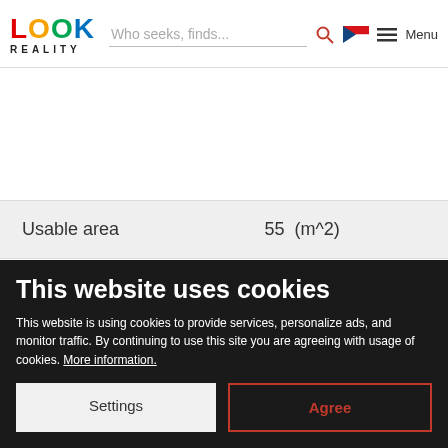LOOK REALITY | Who seeks, finds...
| Usable area | 55 (m^2) |
| --- | --- |
This website uses cookies
This website is using cookies to provide services, personalize ads, and monitor traffic. By continuing to use this site you are agreeing with usage of cookies. More information.
Settings | Agree